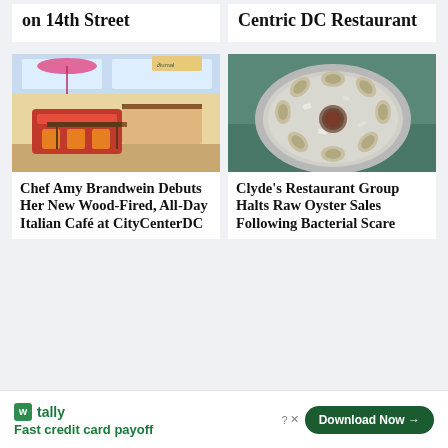on 14th Street
Centric DC Restaurant
[Figure (photo): Interior of an Italian café with red/orange booth seating, wooden tables, and large windows with pink umbrellas visible outside]
Chef Amy Brandwein Debuts Her New Wood-Fired, All-Day Italian Café at CityCenterDC
[Figure (photo): A round platter of raw oysters on ice with a small bowl of sauce in the center, held by a person]
Clyde's Restaurant Group Halts Raw Oyster Sales Following Bacterial Scare
tally Fast credit card payoff — Download Now